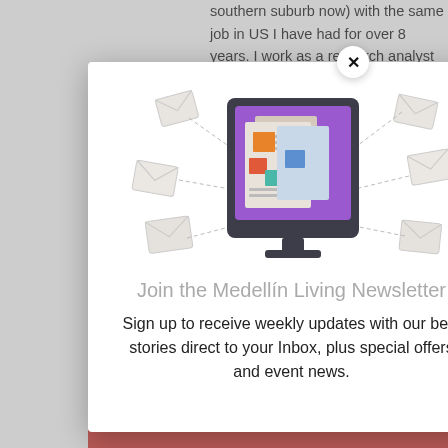southern suburb now) with the same job in US I have had for over 8 years. I work as a research analyst and
rent
d all I
y job.
ogy
me
job
ne
[Figure (illustration): Newsletter signup modal popup showing a computer monitor with a purple screen displaying newspaper/email icons, surrounded by flying envelope icons. Below the illustration is the heading 'Join the Medellín Living Newsletter' and body text 'Sign up to receive weekly updates with our best stories direct to your Inbox, plus special offers and event news.' A close (X) button appears in the top-right corner of the modal.]
Join the Medellín Living Newsletter
Sign up to receive weekly updates with our best stories direct to your Inbox, plus special offers and event news.